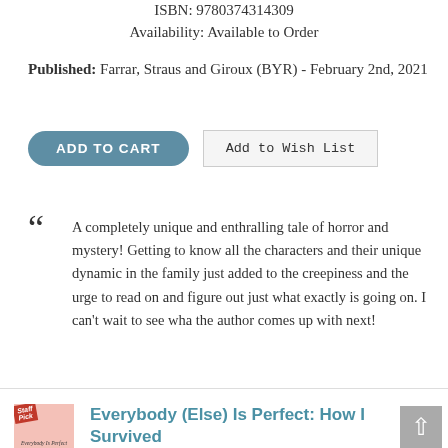ISBN: 9780374314309
Availability: Available to Order
Published: Farrar, Straus and Giroux (BYR) - February 2nd, 2021
ADD TO CART
Add to Wish List
“ A completely unique and enthralling tale of horror and mystery! Getting to know all the characters and their unique dynamic in the family just added to the creepiness and the urge to read on and figure out just what exactly is going on. I can't wait to see wha the author comes up with next!
[Figure (photo): Small book cover thumbnail for 'Everybody Is Perfect' with a Staff Pick ribbon]
Everybody (Else) Is Perfect: How I Survived